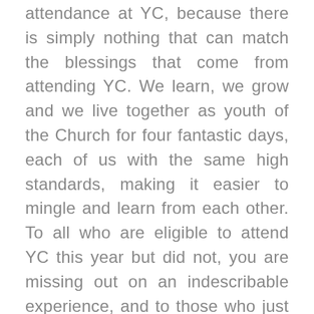attendance at YC, because there is simply nothing that can match the blessings that come from attending YC. We learn, we grow and we live together as youth of the Church for four fantastic days, each of us with the same high standards, making it easier to mingle and learn from each other. To all who are eligible to attend YC this year but did not, you are missing out on an indescribable experience, and to those who just missed the minimum age requirement or are eligible to attend next year, I strongly recommend you to attend. You will not regret going. Even if you find yourself hesitating to go for of any reason, just go. I promise that you will find that any reason will become insignificant in comparison to what you will gain from YC. To all youth, I encourage you to go for YC,